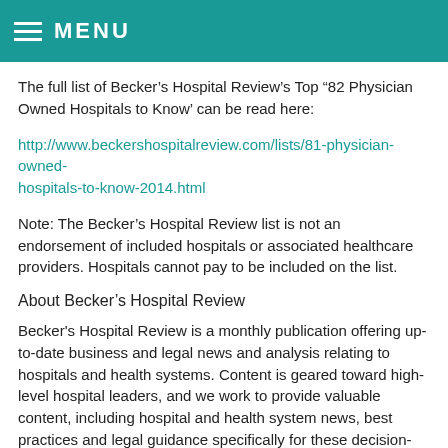MENU
The full list of Becker’s Hospital Review’s Top ‘82 Physician Owned Hospitals to Know’ can be read here:
http://www.beckershospitalreview.com/lists/81-physician-owned-hospitals-to-know-2014.html
Note: The Becker’s Hospital Review list is not an endorsement of included hospitals or associated healthcare providers. Hospitals cannot pay to be included on the list.
About Becker’s Hospital Review
Becker's Hospital Review is a monthly publication offering up-to-date business and legal news and analysis relating to hospitals and health systems. Content is geared toward high-level hospital leaders, and we work to provide valuable content, including hospital and health system news, best practices and legal guidance specifically for these decision-makers. Each issue of Becker's Hospital Review reaches more than 18,000 people